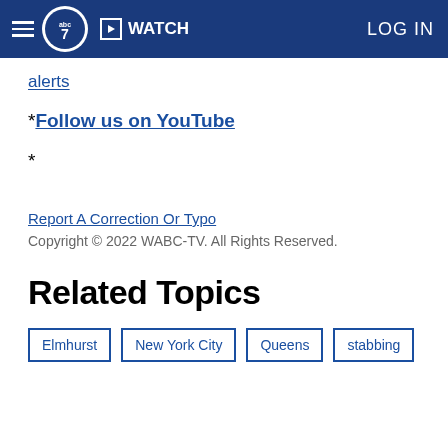ABC7 WATCH LOG IN
alerts
*Follow us on YouTube
*
Report A Correction Or Typo
Copyright © 2022 WABC-TV. All Rights Reserved.
Related Topics
Elmhurst
New York City
Queens
stabbing